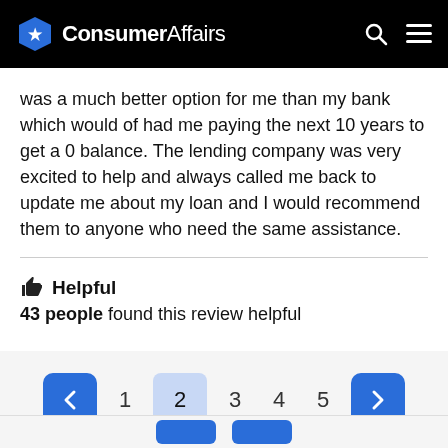ConsumerAffairs
was a much better option for me than my bank which would of had me paying the next 10 years to get a 0 balance. The lending company was very excited to help and always called me back to update me about my loan and I would recommend them to anyone who need the same assistance.
👍 Helpful
43 people found this review helpful
< 1 2 3 4 5 >